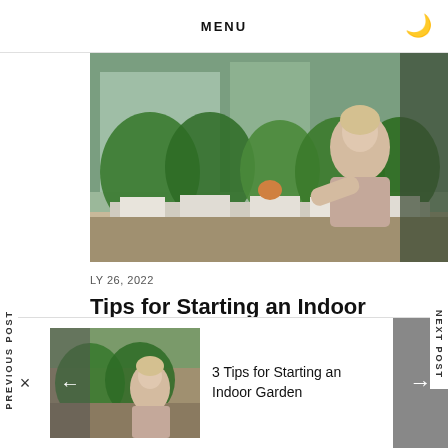MENU
[Figure (photo): Woman tending to indoor herb garden on a windowsill with various green plants in white planters]
LY 26, 2022
Tips for Starting an Indoor Garden
ardening is an awesome hobby. Its many benefits clude reducing stress, improving mental and hysical health, and providing fresh produce. But hat if you live...
PREVIOUS POST
NEXT POST
[Figure (photo): Thumbnail of woman tending indoor garden]
3 Tips for Starting an Indoor Garden